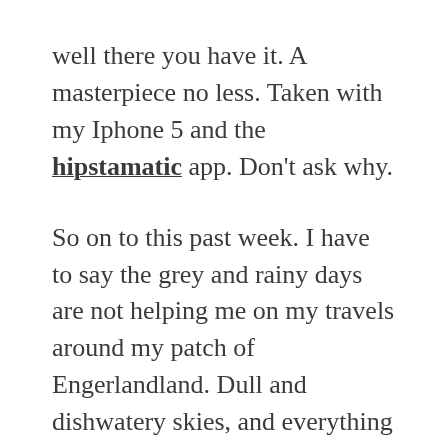well there you have it. A masterpiece no less. Taken with my Iphone 5 and the hipstamatic app. Don't ask why.
So on to this past week. I have to say the grey and rainy days are not helping me on my travels around my patch of Engerlandland. Dull and dishwatery skies, and everything just blah. But at least on the day I had to visit a client in the windy wilds of North Yorkshire there was an interesting sky that I stopped to take pictures of. My little Nikon S1 compact is no match for my D700, but the wonders of